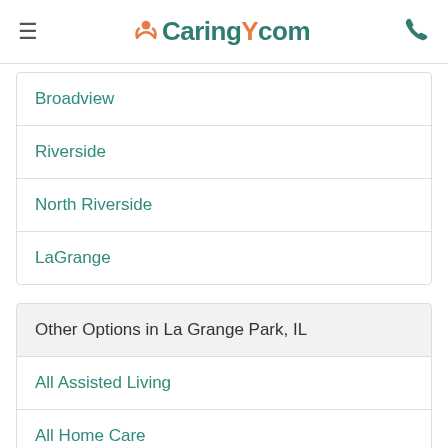Caring.com
Broadview
Riverside
North Riverside
LaGrange
Other Options in La Grange Park, IL
All Assisted Living
All Home Care
All Nursing Homes
All Senior Living